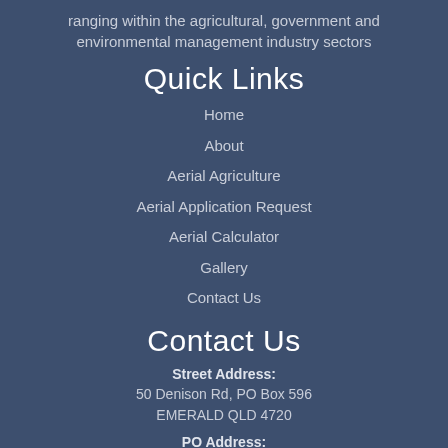ranging within the agricultural, government and environmental management industry sectors
Quick Links
Home
About
Aerial Agriculture
Aerial Application Request
Aerial Calculator
Gallery
Contact Us
Contact Us
Street Address:
50 Denison Rd, PO Box 596
EMERALD QLD 4720
PO Address:
PO Box 596, Emerald Qld 4720,
Australia